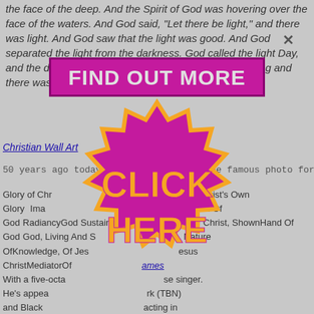the face of the deep. And the Spirit of God was hovering over the face of the waters. And God said, "Let there be light," and there was light. And God saw that the light was good. And God separated the light from the darkness. God called the light Day, and the darkness he called Night. And there was evening and there was morning, the first day. …
Christian Wall Art
50 years ago today, The Beatles shot the famous photo for
[Figure (infographic): Bright pink/magenta advertisement overlay with 'FIND OUT MORE' text at top and a starburst/gear shape below containing 'CLICK HERE' in orange text]
Glory of Christ, Young People Of The Faith, Christ's Own Glory Image Person, The Beatles, Return, Right Hand Of God Radiancy God Sustaining Creation Power Of Christ, Shown Hand Of God God, Living And Saving, Salvation, Nature Of Knowledge, Of Jesus Christ Mediator Of God James With a five-octave range singer. He's appeared on Trinity Broadcasting Network (TBN) and Black acting in major plays "er" (Michael Matthews), Angela Barrow and ...